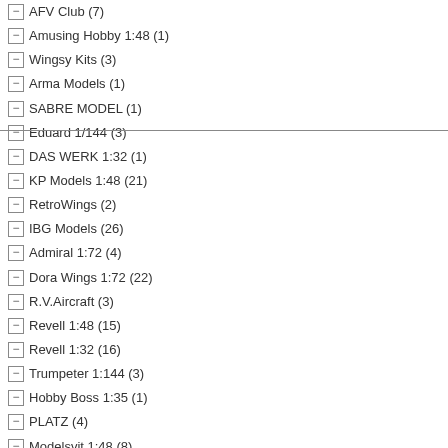AFV Club (7)
Amusing Hobby 1:48 (1)
Wingsy Kits (3)
Arma Models (1)
SABRE MODEL (1)
Eduard 1/144 (3)
DAS WERK 1:32 (1)
KP Models 1:48 (21)
RetroWings (2)
IBG Models (26)
Admiral 1:72 (4)
Dora Wings 1:72 (22)
R.V.Aircraft (3)
Revell 1:48 (15)
Revell 1:32 (16)
Trumpeter 1:144 (3)
Hobby Boss 1:35 (1)
PLATZ (4)
Modelsvit 1:48 (8)
A & A Models (13)
Hobby Boss 1:18 (6)
Brengun Photodécoupe (3)
ModelCollect 1:72 (13)
S.B.S Model 1:72 (22)
S.B.S Model 1:48 (3)
+ de détails
Quantité : 1
Ajouter au panier